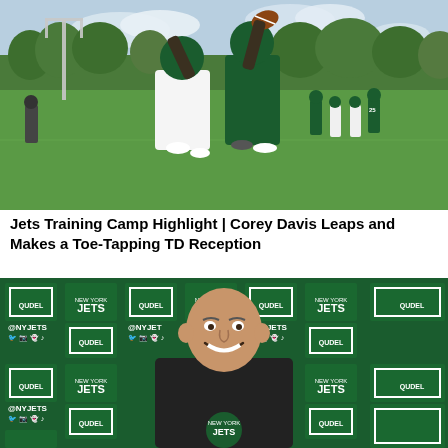[Figure (photo): Two NFL players in green helmets and uniforms jumping at a football training camp on a green field, with other players and trees visible in the background. One player in white jersey and one in dark jersey competing for the ball overhead.]
Jets Training Camp Highlight | Corey Davis Leaps and Makes a Toe-Tapping TD Reception
[Figure (photo): A bald man in a dark New York Jets branded shirt smiling and laughing at what appears to be a press conference in front of a green New York Jets branded backdrop with QUDEL and @NYJETS logos repeated throughout.]